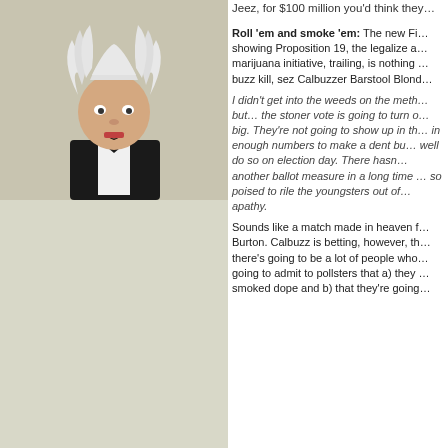[Figure (photo): Photo of elderly man with wild white hair wearing a tuxedo, mouth open]
Jeez, for $100 million you'd think they…
Roll 'em and smoke 'em: The new Fi… showing Proposition 19, the legalize a… marijuana initiative, trailing, is nothing … buzz kill, sez Calbuzzer Barstool Blond…
I didn't get into the weeds on the meth… but… the stoner vote is going to turn o… big. They're not going to show up in th… in enough numbers to make a dent bu… well do so on election day. There hasn… another ballot measure in a long time … so poised to rile the youngsters out of… apathy.
Sounds like a match made in heaven f… Burton. Calbuzz is betting, however, th… there's going to be a lot of people who… going to admit to pollsters that a) they … smoked dope and b) that they're going…
[Figure (photo): Photo of LeBron James in Cleveland Cavaliers uniform giving thumbs up]
Ki… St… Ha… rai… ca… sh… Gr… ray… So…